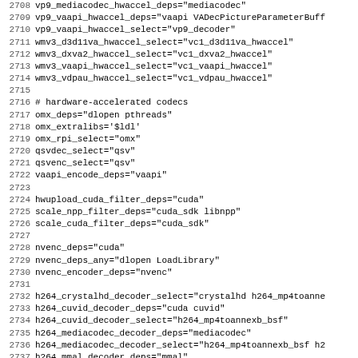Source code listing lines 2708-2739, showing FFmpeg configuration dependencies for hardware-accelerated codecs including vp9, wmv3, omx, qsv, vaapi, cuda, nvenc, and h264 variants.